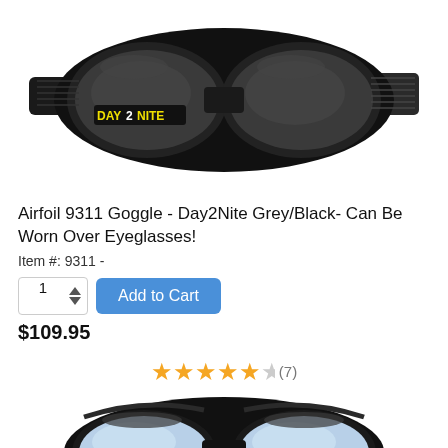[Figure (photo): Black motorcycle/sports goggles with dark tinted lenses labeled DAY2NITE on the frame, shown from the front against a white background]
Airfoil 9311 Goggle - Day2Nite Grey/Black- Can Be Worn Over Eyeglasses!
Item #: 9311 -
Add to Cart (quantity: 1)
$109.95
★★★★½ (7)
[Figure (photo): Bottom portion of a second pair of black goggles with blue-tinted lenses, shown from above against a white background]